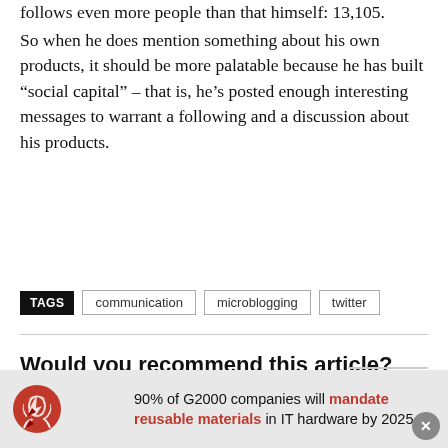follows even more people than that himself: 13,105.
So when he does mention something about his own products, it should be more palatable because he has built “social capital” – that is, he’s posted enough interesting messages to warrant a following and a discussion about his products.
TAGS  communication  microblogging  twitter
Would you recommend this article?
90% of G2000 companies will mandate reusable materials in IT hardware by 2025